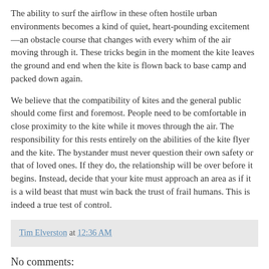The ability to surf the airflow in these often hostile urban environments becomes a kind of quiet, heart-pounding excitement—an obstacle course that changes with every whim of the air moving through it. These tricks begin in the moment the kite leaves the ground and end when the kite is flown back to base camp and packed down again.

We believe that the compatibility of kites and the general public should come first and foremost. People need to be comfortable in close proximity to the kite while it moves through the air. The responsibility for this rests entirely on the abilities of the kite flyer and the kite. The bystander must never question their own safety or that of loved ones. If they do, the relationship will be over before it begins. Instead, decide that your kite must approach an area as if it is a wild beast that must win back the trust of frail humans. This is indeed a true test of control.
Tim Elverston at 12:36 AM
No comments: